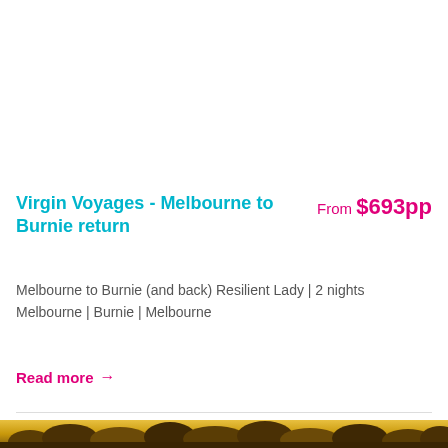Virgin Voyages - Melbourne to Burnie return   From $693pp
Melbourne to Burnie (and back) Resilient Lady | 2 nights Melbourne | Burnie | Melbourne
Read more →
[Figure (photo): Landscape photo showing silhouetted trees at golden sunset/sunrise]